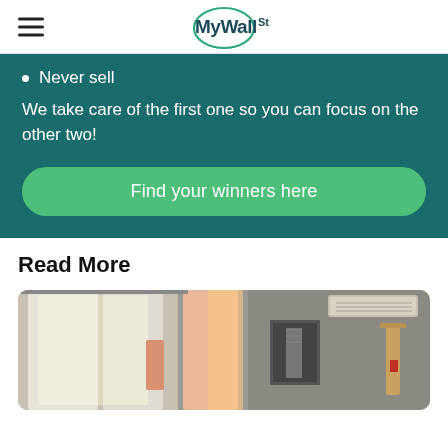MyWallSt
Never sell
We take care of the first one so you can focus on the other two!
Find your winners here
Read More
[Figure (photo): Interior room photo showing curtains, wall art, and an air conditioning unit on the wall]